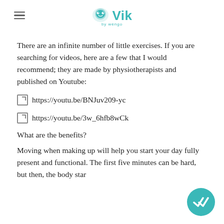Vik by Wengo
There are an infinite number of little exercises. If you are searching for videos, here are a few that I would recommend; they are made by physiotherapists and published on Youtube:
https://youtu.be/BNJuv209-yc
https://youtu.be/3w_6hfb8wCk
What are the benefits?
Moving when making up will help you start your day fully present and functional. The first five minutes can be hard, but then, the body star